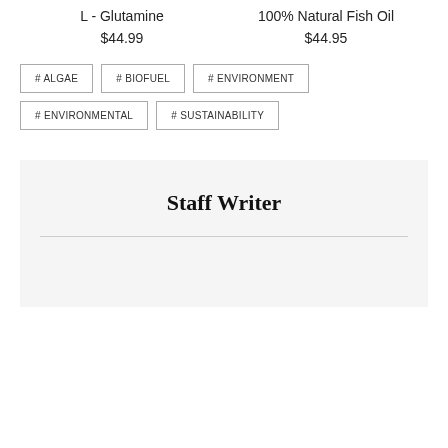L - Glutamine
$44.99
100% Natural Fish Oil
$44.95
# ALGAE
# BIOFUEL
# ENVIRONMENT
# ENVIRONMENTAL
# SUSTAINABILITY
Staff Writer